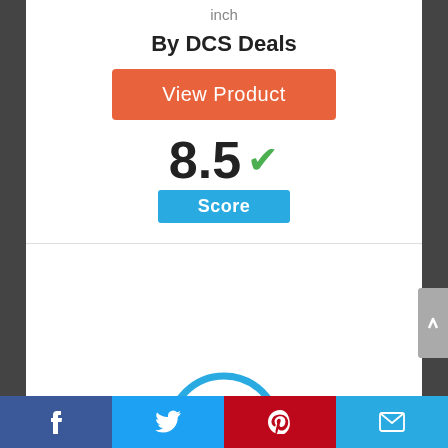inch
By DCS Deals
View Product
8.5 ✓
Score
[Figure (infographic): Circle badge with number 7 inside, outlined in blue]
Facebook | Twitter | Pinterest | Email